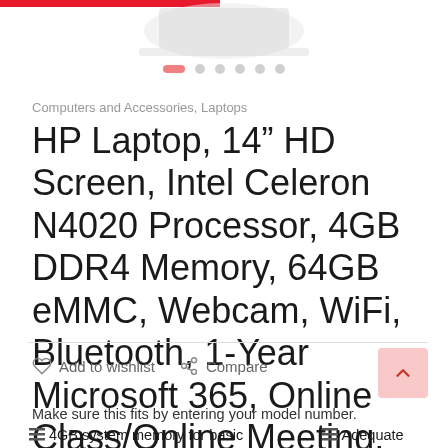[Figure (photo): Partial view of laptop product image at top of page, clipped, with a red progress bar and navigation dots below]
Computers and Accessories, Laptops
HP Laptop, 14” HD Screen, Intel Celeron N4020 Processor, 4GB DDR4 Memory, 64GB eMMC, Webcam, WiFi, Bluetooth, 1-Year Microsoft 365, Online Class/Online Meeting, Windows 10 Home, KKE 64GB Micro SD Card
Add to wishlist   Compare
Make sure this fits by entering your model number.
4GB system memory for basic multitasking  Adequate high-